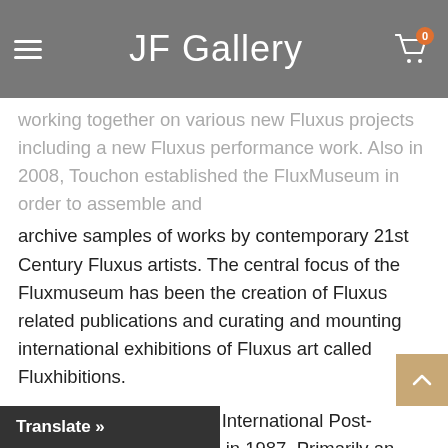JF Gallery
working together on various new Fluxus projects including a new Fluxus performance work. Also in 2008, Touchon established the FluxMuseum in order to assemble and archive samples of works by contemporary 21st Century Fluxus artists. The central focus of the Fluxmuseum has been the creation of Fluxus related publications and curating and mounting international exhibitions of Fluxus art called Fluxhibitions.
Touchon co-founded the International Post-Dogmatist Group (IPDG) in 1987. Primarily an alternative to a post-modernist view of the world, the group's writings suggest that creativity and artistic pursuits must be based in a recognition of the spiritual underpinnings of all human activities. The IPDG addresses itself to the art world through a presentation of itself as the ‘official avant-garde’ and an elaborate bureaucratic structure of outlandish